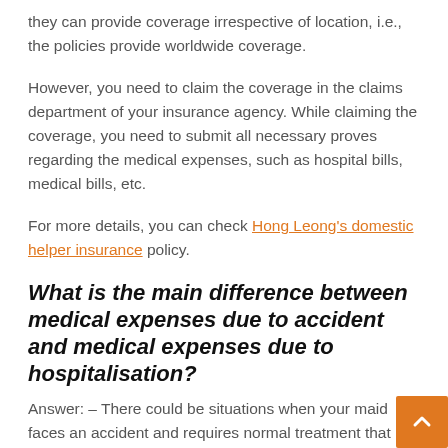they can provide coverage irrespective of location, i.e., the policies provide worldwide coverage.
However, you need to claim the coverage in the claims department of your insurance agency. While claiming the coverage, you need to submit all necessary proves regarding the medical expenses, such as hospital bills, medical bills, etc.
For more details, you can check Hong Leong's domestic helper insurance policy.
What is the main difference between medical expenses due to accident and medical expenses due to hospitalisation?
Answer: – There could be situations when your maid faces an accident and requires normal treatment that does not